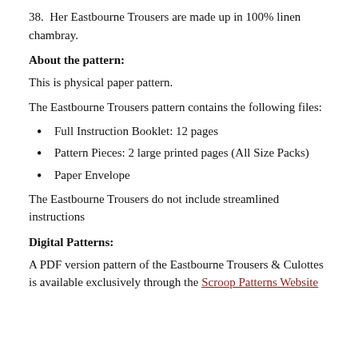38.  Her Eastbourne Trousers are made up in 100% linen chambray.
About the pattern:
This is physical paper pattern.
The Eastbourne Trousers pattern contains the following files:
Full Instruction Booklet: 12 pages
Pattern Pieces: 2 large printed pages (All Size Packs)
Paper Envelope
The Eastbourne Trousers do not include streamlined instructions
Digital Patterns:
A PDF version pattern of the Eastbourne Trousers & Culottes is available exclusively through the Scroop Patterns Website